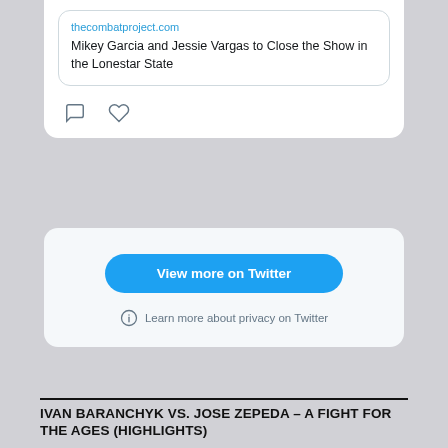[Figure (screenshot): Twitter/X embed card showing a link preview to thecombatproject.com with headline 'Mikey Garcia and Jessie Vargas to Close the Show in the Lonestar State', with comment and like icons below]
View more on Twitter
Learn more about privacy on Twitter
IVAN BARANCHYK VS. JOSE ZEPEDA – A FIGHT FOR THE AGES (HIGHLIGHTS)
[Figure (screenshot): Video player showing a darkened image with text: 'The media could not be loaded, either because the server or network failed or because the format is not supported.']